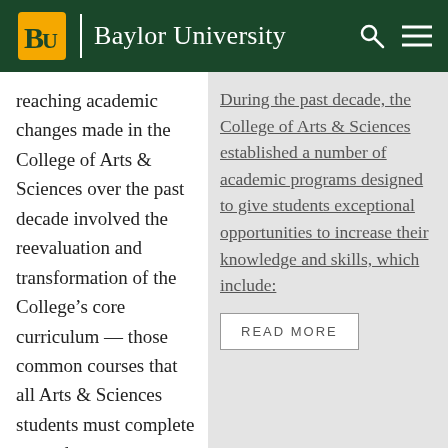Baylor University
reaching academic changes made in the College of Arts & Sciences over the past decade involved the reevaluation and transformation of the College’s core curriculum — those common courses that all Arts & Sciences students must complete to graduate.
During the past decade, the College of Arts & Sciences established a number of academic programs designed to give students exceptional opportunities to increase their knowledge and skills, which include:
READ MORE
For many years, the College’s core curriculum has played